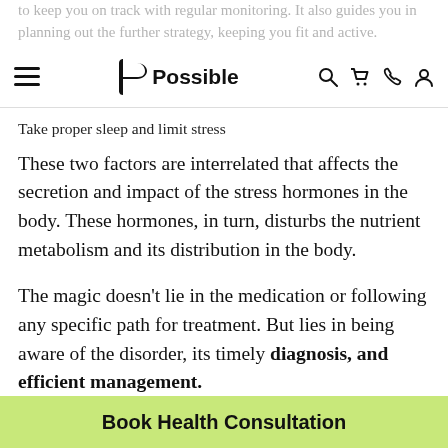to keep you on track with regular monitoring. It also guides you in planning out the further strategy, keeping you fit and active.
Possible (navigation bar with logo, search, cart, phone, user icons)
Take proper sleep and limit stress
These two factors are interrelated that affects the secretion and impact of the stress hormones in the body. These hormones, in turn, disturbs the nutrient metabolism and its distribution in the body.
The magic doesn’t lie in the medication or following any specific path for treatment. But lies in being aware of the disorder, its timely diagnosis, and efficient management.
The real meaning of diabetes management lies in
Book Health Consultation